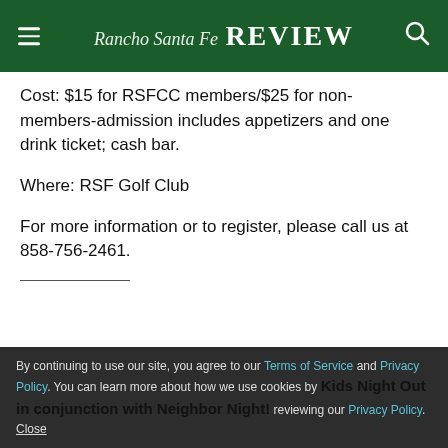Rancho Santa Fe Review
Cost: $15 for RSFCC members/$25 for non-members-admission includes appetizers and one drink ticket; cash bar.
Where: RSF Golf Club
For more information or to register, please call us at 858-756-2461.
By continuing to use our site, you agree to our Terms of Service and Privacy Policy. You can learn more about how we use cookies by reviewing our Privacy Policy. Close
Kids Night Out in conjunction with Neighbor Night!